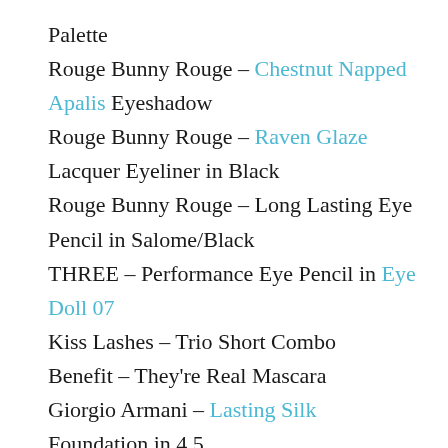Palette
Rouge Bunny Rouge – Chestnut Napped Apalis Eyeshadow
Rouge Bunny Rouge – Raven Glaze Lacquer Eyeliner in Black
Rouge Bunny Rouge – Long Lasting Eye Pencil in Salome/Black
THREE – Performance Eye Pencil in Eye Doll 07
Kiss Lashes – Trio Short Combo
Benefit – They're Real Mascara
Giorgio Armani – Lasting Silk Foundation in 4.5
Chanel – Le Blanc de Chanel Sheer Illuminating Base
Giorgio Armani – High Precision Retouch Concealer #3
Dermablend – Fluid Corrective Foundation in